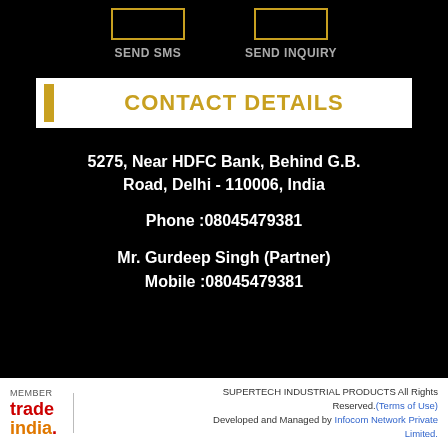[Figure (other): Two rectangular button outlines (SEND SMS and SEND INQUIRY) at top of black section]
CONTACT DETAILS
5275, Near HDFC Bank, Behind G.B. Road, Delhi - 110006, India
Phone :08045479381
Mr. Gurdeep Singh (Partner)
Mobile :08045479381
SUPERTECH INDUSTRIAL PRODUCTS All Rights Reserved.(Terms of Use) Developed and Managed by Infocom Network Private Limited.